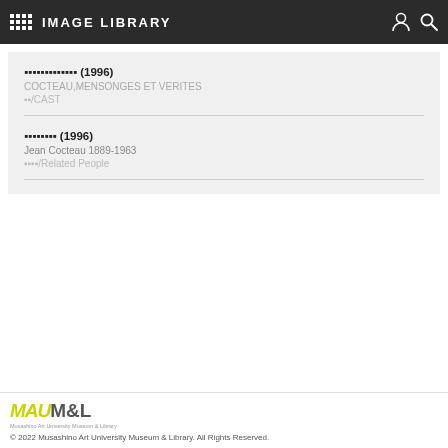IMAGE LIBRARY
▪▪▪▪▪▪▪▪▪▪▪▪▪ (1996)
COCTEAU,MENSONGES ET VERITES
▪▪/CAST
▪▪▪▪▪▪▪▪ (1996)
Jean Cocteau 1889-1963
▪▪▪▪/Related People
© 2022 Musashino Art University Museum & Library. All Rights Reserved.